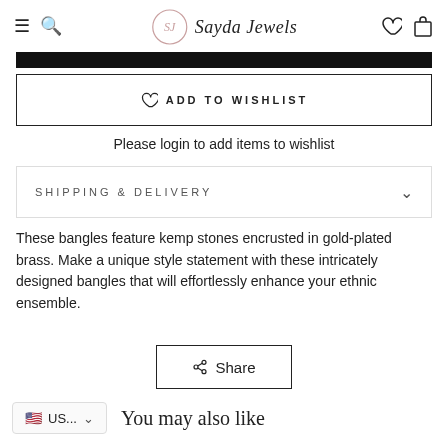Sayda Jewels
[Figure (screenshot): Black bar image strip at top]
ADD TO WISHLIST
Please login to add items to wishlist
SHIPPING & DELIVERY
These bangles feature kemp stones encrusted in gold-plated brass. Make a unique style statement with these intricately designed bangles that will effortlessly enhance your ethnic ensemble.
Share
US...
You may also like